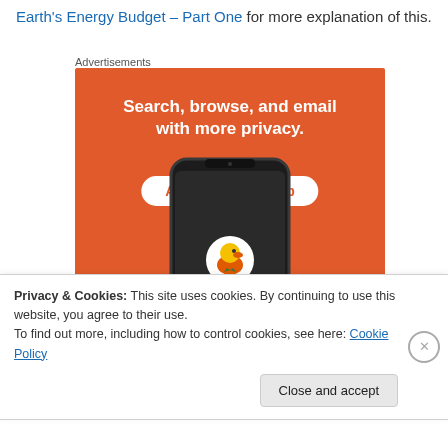Earth's Energy Budget – Part One for more explanation of this.
Advertisements
[Figure (screenshot): DuckDuckGo advertisement showing 'Search, browse, and email with more privacy. All in One Free App' on orange background with phone showing DuckDuckGo app]
Privacy & Cookies: This site uses cookies. By continuing to use this website, you agree to their use.
To find out more, including how to control cookies, see here: Cookie Policy